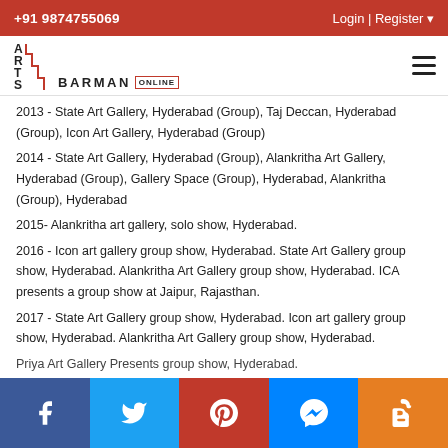+91 9874755069   Login | Register
[Figure (logo): Arts Barman Online logo with staircase letterform in red and black]
2013 - State Art Gallery, Hyderabad (Group), Taj Deccan, Hyderabad (Group), Icon Art Gallery, Hyderabad (Group)
2014 - State Art Gallery, Hyderabad (Group), Alankritha Art Gallery, Hyderabad (Group), Gallery Space (Group), Hyderabad, Alankritha (Group), Hyderabad
2015- Alankritha art gallery, solo show, Hyderabad.
2016 - Icon art gallery group show, Hyderabad. State Art Gallery group show, Hyderabad. Alankritha Art Gallery group show, Hyderabad. ICA presents a group show at Jaipur, Rajasthan.
2017 - State Art Gallery group show, Hyderabad. Icon art gallery group show, Hyderabad. Alankritha Art Gallery group show, Hyderabad.
Facebook | Twitter | Pinterest | Messenger | Blogger